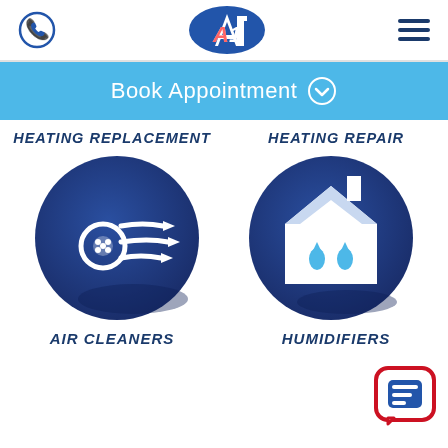[Figure (logo): A1 company logo with phone icon and hamburger menu in header]
Book Appointment ⊙
HEATING REPLACEMENT
HEATING REPAIR
[Figure (illustration): Dark blue circle with air/wind stream and filter icon - Air Cleaners service]
[Figure (illustration): Dark blue circle with house and water drop icons - Humidifiers service]
AIR CLEANERS
HUMIDIFIERS
[Figure (illustration): Chat bubble button icon in bottom right corner]